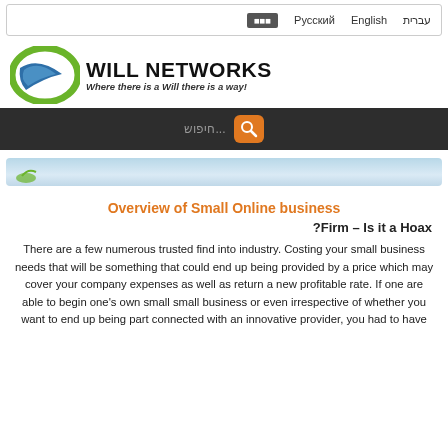Русский   English   עברית
[Figure (logo): Will Networks logo with blue arrow/wave shape and green oval, company name WILL NETWORKS and tagline Where there is a Will there is a way!]
[Figure (screenshot): Search bar with Hebrew placeholder text חיפוש... and orange search button icon on dark background]
[Figure (photo): Partial banner image with light blue gradient background]
Overview of Small Online business
?Firm – Is it a Hoax
There are a few numerous trusted find into industry. Costing your small business needs that will be something that could end up being provided by a price which may cover your company expenses as well as return a new profitable rate. If one are able to begin one's own small small business or even irrespective of whether you want to end up being part connected with an innovative provider, you had to have